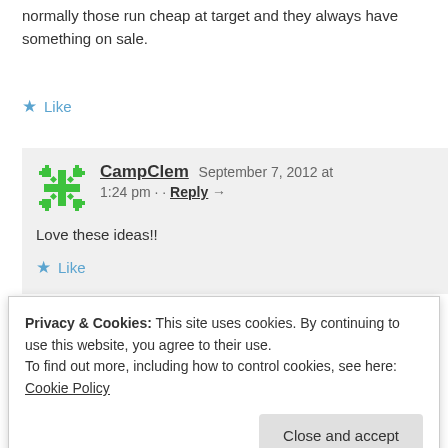normally those run cheap at target and they always have something on sale.
★ Like
CampClem   September 7, 2012 at 1:24 pm · · Reply →
Love these ideas!!
★ Like
Whitney   June 13, 2012 at 8:32 pm · · Reply →
Privacy & Cookies: This site uses cookies. By continuing to use this website, you agree to their use. To find out more, including how to control cookies, see here: Cookie Policy
Close and accept